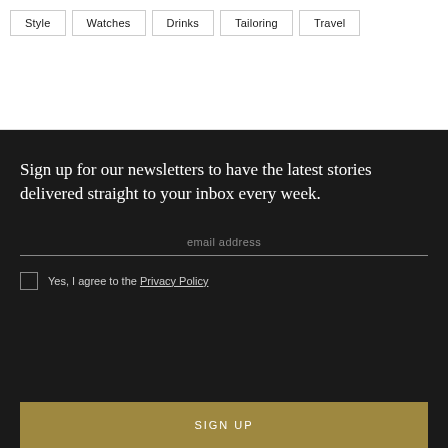Style  Watches  Drinks  Tailoring  Travel
Sign up for our newsletters to have the latest stories delivered straight to your inbox every week.
email address
Yes, I agree to the Privacy Policy
SIGN UP